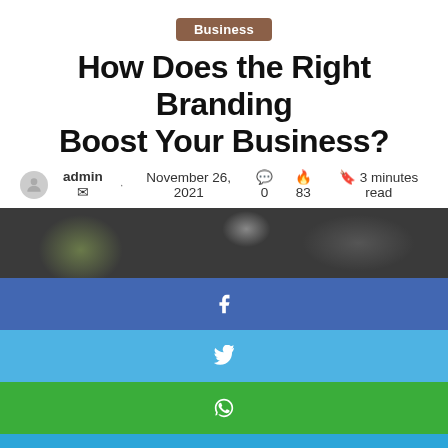Business
How Does the Right Branding Boost Your Business?
admin · November 26, 2021 💬 0 🔥 83 📖 3 minutes read
[Figure (photo): Blurred dark background photo of a bookshelf/office setting]
[Figure (infographic): Social media share buttons stacked vertically: Facebook (blue), Twitter (light blue), WhatsApp (green), Telegram (blue), Phone/Viber (purple)]